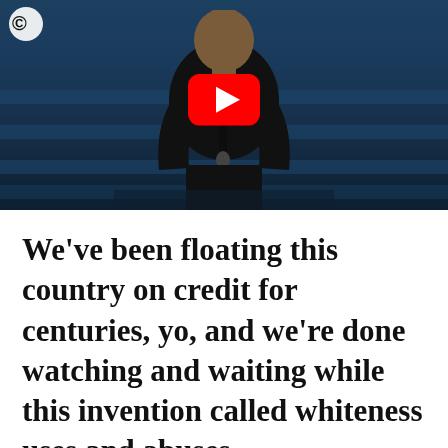[Figure (screenshot): YouTube video thumbnail showing a man in a black shirt at a microphone on a stage with blue lighting in the background. A red YouTube play button is overlaid in the center. A Comedy Central logo is visible in the top-left corner.]
We've been floating this country on credit for centuries, yo, and we're done watching and waiting while this invention called whiteness uses and abuses